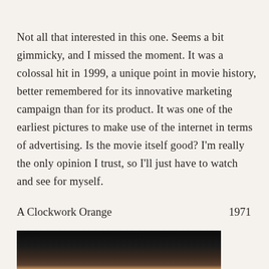Not all that interested in this one. Seems a bit gimmicky, and I missed the moment. It was a colossal hit in 1999, a unique point in movie history, better remembered for its innovative marketing campaign than for its product. It was one of the earliest pictures to make use of the internet in terms of advertising. Is the movie itself good? I'm really the only opinion I trust, so I'll just have to watch and see for myself.
A Clockwork Orange    1971
[Figure (photo): Bottom portion of a photograph showing a dark scene, partially visible, with a face or figure emerging from darkness with warm flesh tones at the bottom edge]